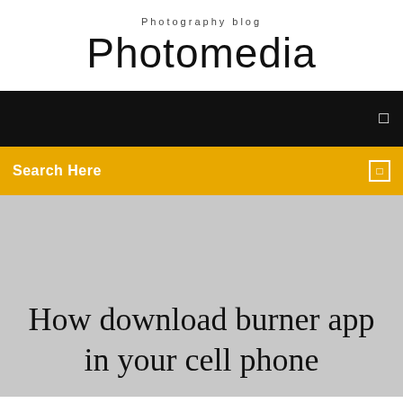Photography blog
Photomedia
[Figure (screenshot): Black navigation bar with a small white icon on the right side]
Search Here
How download burner app in your cell phone